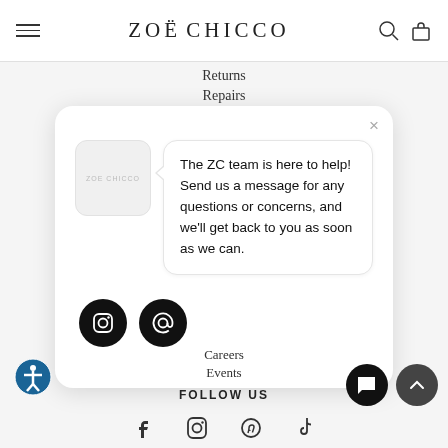ZOË CHICCO
Returns
Repairs
The ZC team is here to help! Send us a message for any questions or concerns, and we'll get back to you as soon as we can.
Careers
Events
FOLLOW US
[Figure (screenshot): Website screenshot showing Zoë Chicco jewelry brand page with a chat widget popup containing brand logo, message bubble with text 'The ZC team is here to help! Send us a message for any questions or concerns, and we'll get back to you as soon as we can.' and Instagram/email social icons, plus page navigation links and footer social icons.]